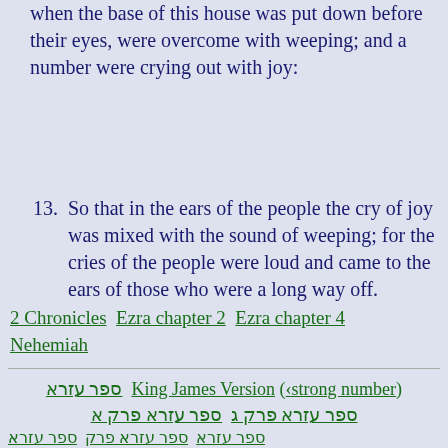when the base of this house was put down before their eyes, were overcome with weeping; and a number were crying out with joy:
13. So that in the ears of the people the cry of joy was mixed with the sound of weeping; for the cries of the people were loud and came to the ears of those who were a long way off.
2 Chronicles  Ezra chapter 2  Ezra chapter 4  Nehemiah
ספר עזרא King James Version (‹strong number)  ספר עזרא פרק ג  ספר עזרא פרק א ספר עזרא